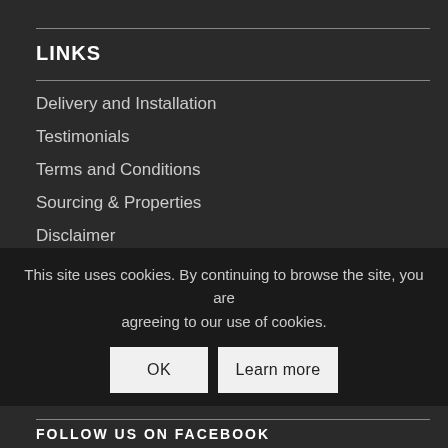LINKS
Delivery and Installation
Testimonials
Terms and Conditions
Sourcing & Properties
Disclaimer
FAQ
Returns & Exchanges
Contact us
Divide Buy Credit
This site uses cookies. By continuing to browse the site, you are agreeing to our use of cookies.
FOLLOW US ON FACEBOOK